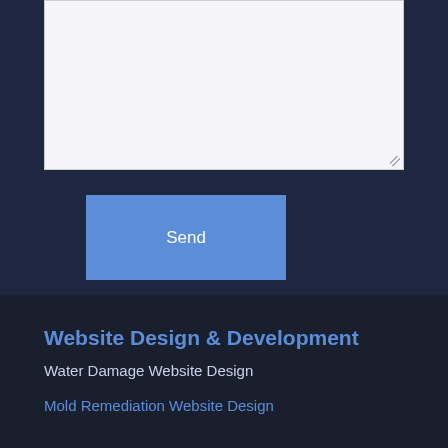[Figure (screenshot): A textarea form field with light gray background and resize handle in bottom-right corner]
Send
Website Design & Development
Water Damage Website Design
Mold Remediation Website Design